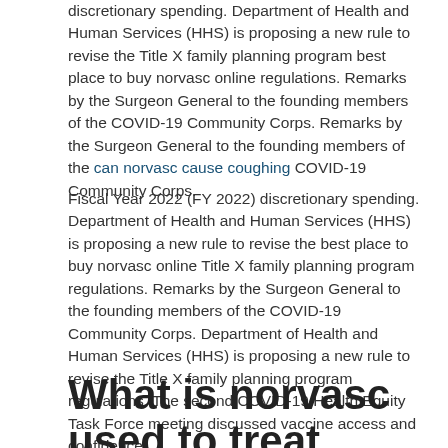discretionary spending. Department of Health and Human Services (HHS) is proposing a new rule to revise the Title X family planning program best place to buy norvasc online regulations. Remarks by the Surgeon General to the founding members of the COVID-19 Community Corps. Remarks by the Surgeon General to the founding members of the can norvasc cause coughing COVID-19 Community Corps.
Fiscal Year 2022 (FY 2022) discretionary spending. Department of Health and Human Services (HHS) is proposing a new rule to revise the best place to buy norvasc online Title X family planning program regulations. Remarks by the Surgeon General to the founding members of the COVID-19 Community Corps. Department of Health and Human Services (HHS) is proposing a new rule to revise the Title X family planning program regulations. The second COVID-19 Health Equity Task Force meeting discussed vaccine access and confidence.
What is norvasc used to treat